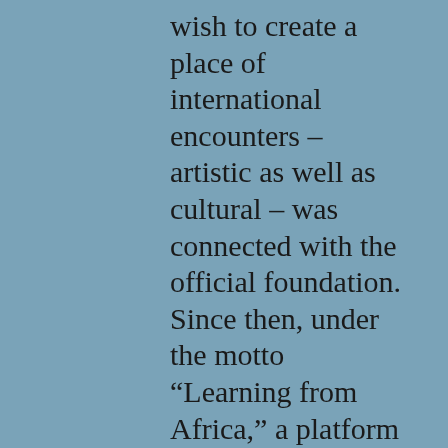wish to create a place of international encounters – artistic as well as cultural – was connected with the official foundation. Since then, under the motto “Learning from Africa,” a platform for intercultural exchange programs and postcolonial discourse has manifested itself about 30 kilometers away from Ouagadougou, the capital of Burkina Faso, making visible a new and, in particular, differentiated image of Africa,